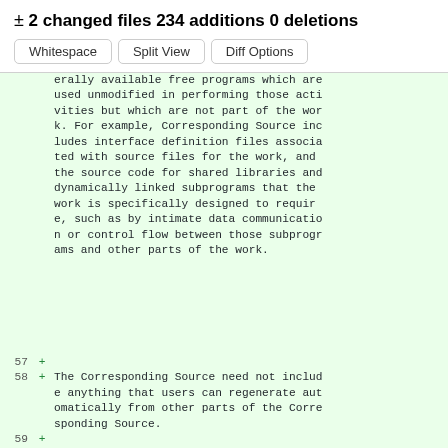± 2 changed files 234 additions 0 deletions
Whitespace  Split View  Diff Options
erally available free programs which are used unmodified in performing those activities but which are not part of the work. For example, Corresponding Source includes interface definition files associated with source files for the work, and the source code for shared libraries and dynamically linked subprograms that the work is specifically designed to require, such as by intimate data communication or control flow between those subprograms and other parts of the work.
57  +
58  +  The Corresponding Source need not include anything that users can regenerate automatically from other parts of the Corresponding Source.
59  +
60  +  The Corresponding Source for a work in a